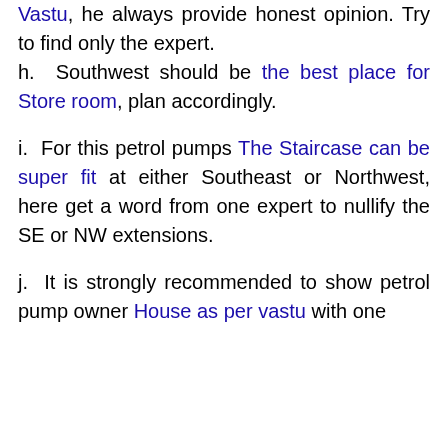Vastu, he always provide honest opinion. Try to find only the expert.
h. Southwest should be the best place for Store room, plan accordingly.
i. For this petrol pumps The Staircase can be super fit at either Southeast or Northwest, here get a word from one expert to nullify the SE or NW extensions.
j. It is strongly recommended to show petrol pump owner House as per vastu with one